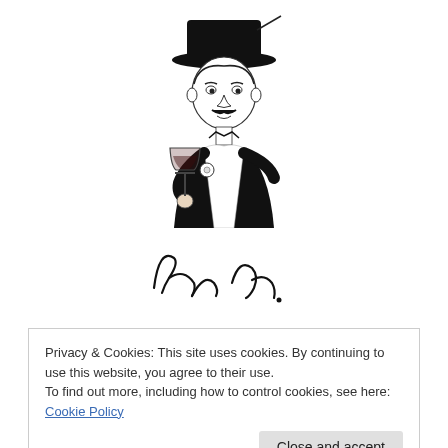[Figure (illustration): Black and white illustration of a dapper gentleman in a top hat and formal suit, holding a wine glass. He has a mustache and a boutonniere on his lapel.]
[Figure (illustration): A cursive signature in black ink.]
Privacy & Cookies: This site uses cookies. By continuing to use this website, you agree to their use.
To find out more, including how to control cookies, see here: Cookie Policy
Close and accept